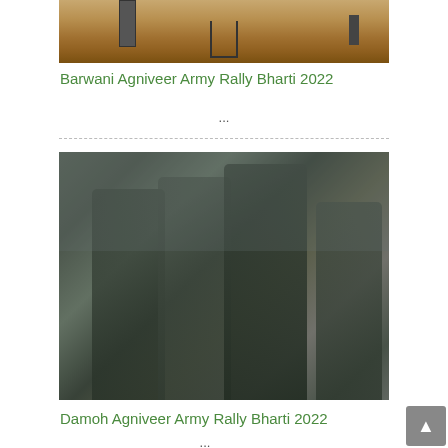[Figure (photo): Military/army personnel with equipment in a sandy outdoor environment, partial view cropped at top]
Barwani Agniveer Army Rally Bharti 2022
...
[Figure (photo): Indian Army officer in uniform with beret shaking hands with military personnel in camouflage uniforms, standing near an aircraft]
Damoh Agniveer Army Rally Bharti 2022
...